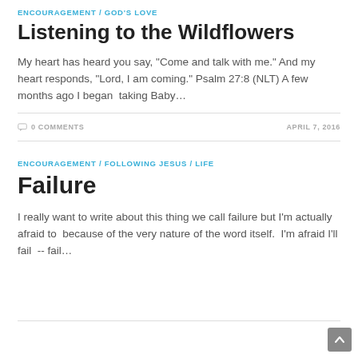ENCOURAGEMENT / GOD'S LOVE
Listening to the Wildflowers
My heart has heard you say, "Come and talk with me." And my heart responds, "Lord, I am coming." Psalm 27:8 (NLT) A few months ago I began  taking Baby…
0 COMMENTS    APRIL 7, 2016
ENCOURAGEMENT / FOLLOWING JESUS / LIFE
Failure
I really want to write about this thing we call failure but I'm actually afraid to  because of the very nature of the word itself.  I'm afraid I'll fail  -- fail…